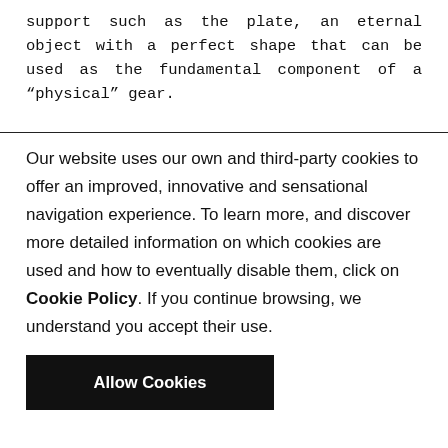support such as the plate, an eternal object with a perfect shape that can be used as the fundamental component of a “physical” gear.
Our website uses our own and third-party cookies to offer an improved, innovative and sensational navigation experience. To learn more, and discover more detailed information on which cookies are used and how to eventually disable them, click on Cookie Policy. If you continue browsing, we understand you accept their use.
Allow Cookies